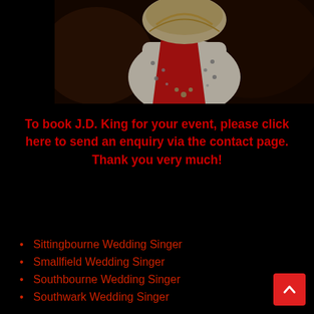[Figure (photo): Close-up photo of an Elvis tribute artist costume — ornate white jumpsuit with rhinestones/studs decoration and a bold red sash/ribbon, dark moody background]
To book J.D. King for your event, please click here to send an enquiry via the contact page. Thank you very much!
Sittingbourne Wedding Singer
Smallfield Wedding Singer
Southbourne Wedding Singer
Southwark Wedding Singer